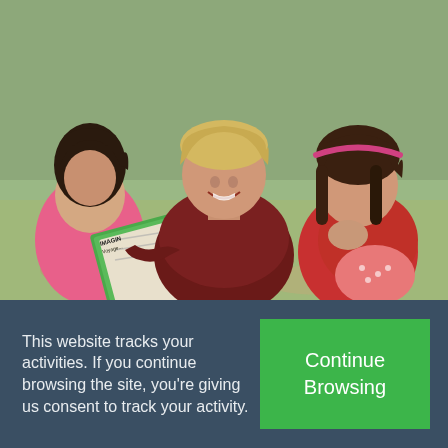[Figure (photo): Three children sitting outdoors reading a comic book together. A boy in a dark red long-sleeve shirt is in the center smiling, with two girls on either side looking at the book.]
This website tracks your activities. If you continue browsing the site, you're giving us consent to track your activity.
Continue Browsing